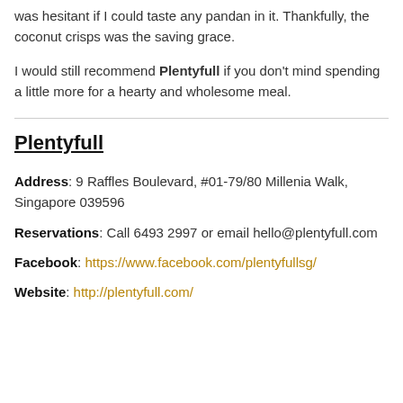was hesitant if I could taste any pandan in it. Thankfully, the coconut crisps was the saving grace.
I would still recommend Plentyfull if you don't mind spending a little more for a hearty and wholesome meal.
Plentyfull
Address: 9 Raffles Boulevard, #01-79/80 Millenia Walk, Singapore 039596
Reservations: Call 6493 2997 or email hello@plentyfull.com
Facebook: https://www.facebook.com/plentyfullsg/
Website: http://plentyfull.com/